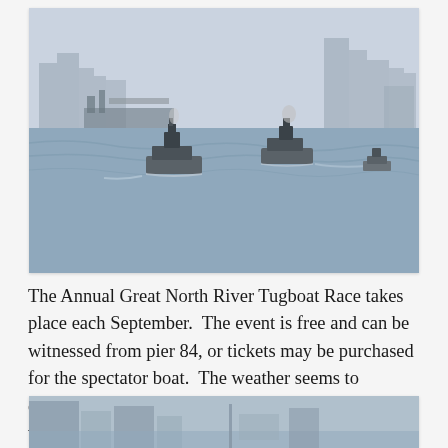[Figure (photo): Photograph of tugboats racing on the Hudson River with a city skyline visible in the misty background. Multiple tugboats are seen moving across gray choppy water with a hazy industrial skyline behind them.]
The Annual Great North River Tugboat Race takes place each September.  The event is free and can be witnessed from pier 84, or tickets may be purchased for the spectator boat.  The weather seems to celebrate the day as well, bringing the cold wet winds of the Hudson.
[Figure (photo): Partial photograph showing the bottom portion of a city scene, cropped at the bottom of the page.]